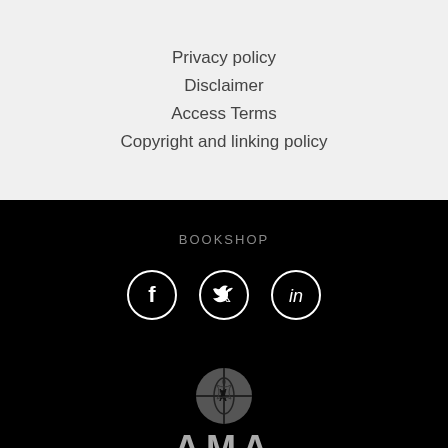Privacy policy
Disclaimer
Access Terms
Copyright and linking policy
BOOKSHOP
[Figure (illustration): Social media icons: Facebook, Twitter, LinkedIn in white circles on black background]
[Figure (logo): AMA - Australian Medical Association logo with caduceus-style emblem in grey on black background]